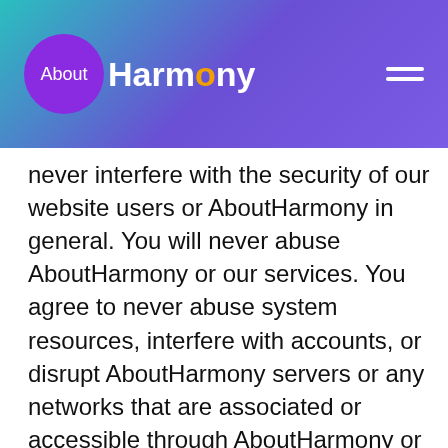About Harmony
never interfere with the security of our website users or AboutHarmony in general. You will never abuse AboutHarmony or our services. You agree to never abuse system resources, interfere with accounts, or disrupt AboutHarmony servers or any networks that are associated or accessible through AboutHarmony or our affiliates. You will never interfere with AboutHarmony user enjoyment. You will always follow AboutHarmony restrictions of access to our sites. Most importantly, you agree to follow all laws that comply with the use ofScoop Quiz. These may be international, national, state or local regulations. You acknowledge that we are not responsible for businesses that advertise onScoop Quiz, and/or the quality of services or goods they provide.